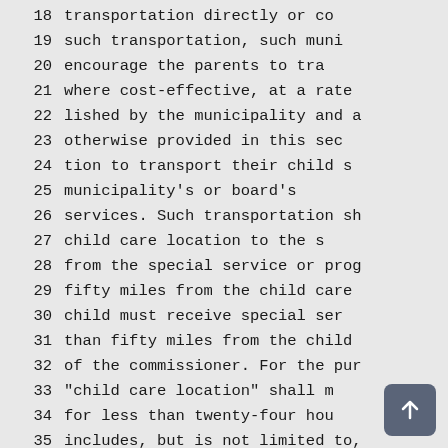18  transportation directly or co
19  such transportation, such muni
20  encourage the parents to tra
21  where cost-effective, at a rate
22  lished by the municipality and a
23  otherwise provided in this sec
24  tion to transport their child s
25  municipality's or board's
26  services. Such transportation sh
27  child care location to the s
28  from the special service or prog
29  fifty miles from the child care
30  child must receive special ser
31  than fifty miles from the child
32  of the commissioner. For the pur
33  "child care location" shall m
34  for less than twenty-four hou
35  includes, but is not limited to,
36  as day care centers, family da